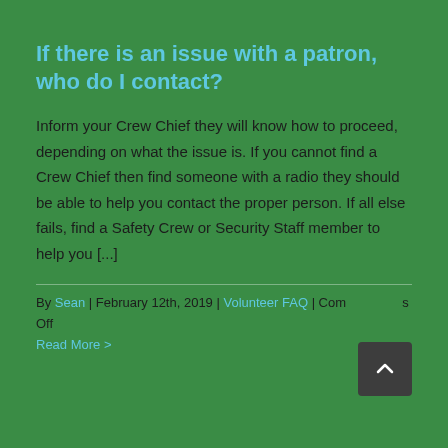If there is an issue with a patron, who do I contact?
Inform your Crew Chief they will know how to proceed, depending on what the issue is. If you cannot find a Crew Chief then find someone with a radio they should be able to help you contact the proper person. If all else fails, find a Safety Crew or Security Staff member to help you [...]
By Sean | February 12th, 2019 | Volunteer FAQ | Comments Off
Read More >